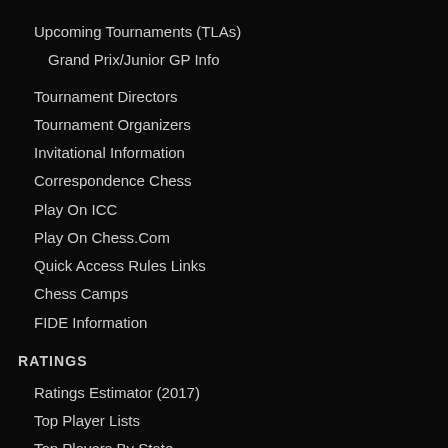Upcoming Tournaments (TLAs)
Grand Prix/Junior GP Info
Tournament Directors
Tournament Organizers
Invitational Information
Correspondence Chess
Play On ICC
Play On Chess.Com
Quick Access Rules Links
Chess Camps
FIDE Information
RATINGS
Ratings Estimator (2017)
Top Player Lists
Top Players By State
Player/Rating Lookup
Reports & Standings
Invitational Information